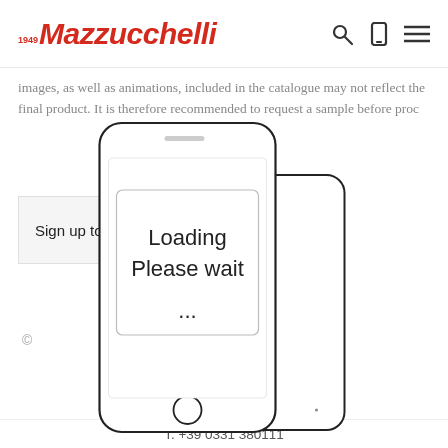Mazzucchelli 1849
images, as well as animations, included in the catalogue may not reflect the final product. It is therefore recommended to request a sample before proc…
Sign up to ou…
[Figure (illustration): Phone/tablet device mockup showing 'Loading Please wait ...' dialog overlay on a mobile device outline]
©
T. +39 0331 380111